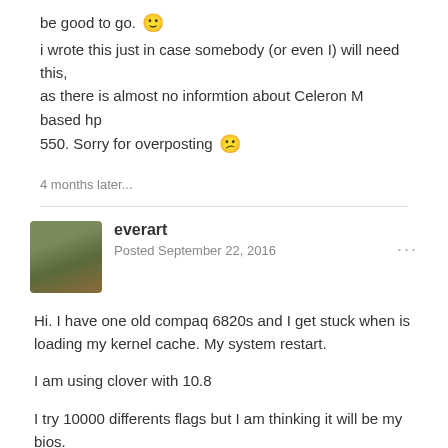be good to go. 🙂 i wrote this just in case somebody (or even I) will need this, as there is almost no informtion about Celeron M based hp 550. Sorry for overposting 😕
4 months later...
everart
Posted September 22, 2016
Hi. I have one old compaq 6820s and I get stuck when is loading my kernel cache. My system restart.

I am using clover with 10.8

I try 10000 differents flags but I am thinking it will be my bios.

Any ideas?